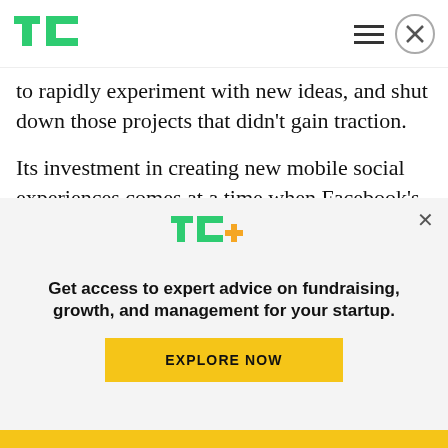TechCrunch header with logo, hamburger menu, and close button
to rapidly experiment with new ideas, and shut down those projects that didn't gain traction.
Its investment in creating new mobile social experiences comes at a time when Facebook's suite of apps is facing serious competition from newer publishers, including most notably, Snapchat and TikTok. More broadly, the social networking app
[Figure (logo): TC+ logo in green with orange plus sign]
Get access to expert advice on fundraising, growth, and management for your startup.
EXPLORE NOW